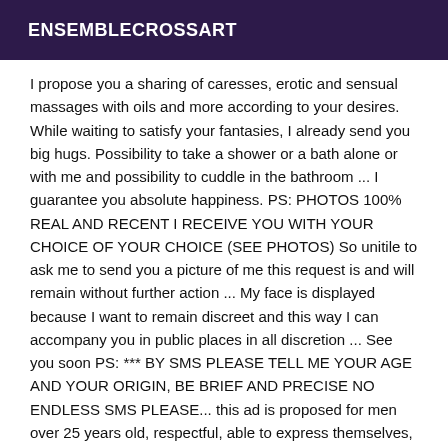ENSEMBLECROSSART
I propose you a sharing of caresses, erotic and sensual massages with oils and more according to your desires. While waiting to satisfy your fantasies, I already send you big hugs. Possibility to take a shower or a bath alone or with me and possibility to cuddle in the bathroom ... I guarantee you absolute happiness. PS: PHOTOS 100% REAL AND RECENT I RECEIVE YOU WITH YOUR CHOICE OF YOUR CHOICE (SEE PHOTOS) So unitile to ask me to send you a picture of me this request is and will remain without further action ... My face is displayed because I want to remain discreet and this way I can accompany you in public places in all discretion ... See you soon PS: *** BY SMS PLEASE TELL ME YOUR AGE AND YOUR ORIGIN, BE BRIEF AND PRECISE NO ENDLESS SMS PLEASE... this ad is proposed for men over 25 years old, respectful, able to express themselves, and European type. Thank you for your understanding, see you soon :)